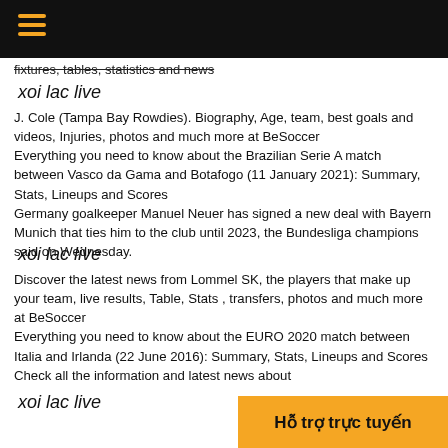[hamburger menu icon on black bar]
fixtures, tables, statistics and news
xoi lac live
J. Cole (Tampa Bay Rowdies). Biography, Age, team, best goals and videos, Injuries, photos and much more at BeSoccer
Everything you need to know about the Brazilian Serie A match between Vasco da Gama and Botafogo (11 January 2021): Summary, Stats, Lineups and Scores
Germany goalkeeper Manuel Neuer has signed a new deal with Bayern Munich that ties him to the club until 2023, the Bundesliga champions said on Wednesday.
xoi lac live
Discover the latest news from Lommel SK, the players that make up your team, live results, Table, Stats , transfers, photos and much more at BeSoccer
Everything you need to know about the EURO 2020 match between Italia and Irlanda (22 June 2016): Summary, Stats, Lineups and Scores
Check all the information and latest news about
xoi lac live
Hỗ trợ trực tuyến